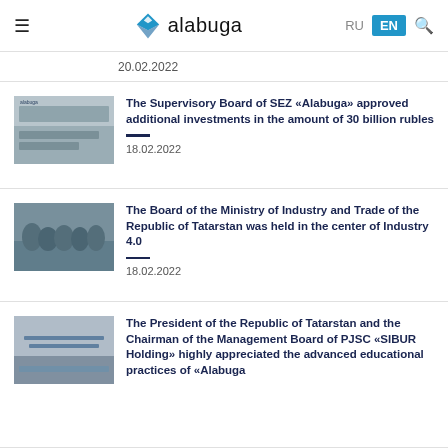alabuga
20.02.2022
The Supervisory Board of SEZ «Alabuga» approved additional investments in the amount of 30 billion rubles
18.02.2022
The Board of the Ministry of Industry and Trade of the Republic of Tatarstan was held in the center of Industry 4.0
18.02.2022
The President of the Republic of Tatarstan and the Chairman of the Management Board of PJSC «SIBUR Holding» highly appreciated the advanced educational practices of «Alabuga